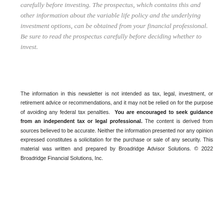carefully before investing. The prospectus, which contains this and other information about the variable life policy and the underlying investment options, can be obtained from your financial professional. Be sure to read the prospectus carefully before deciding whether to invest.
The information in this newsletter is not intended as tax, legal, investment, or retirement advice or recommendations, and it may not be relied on for the purpose of avoiding any federal tax penalties. You are encouraged to seek guidance from an independent tax or legal professional. The content is derived from sources believed to be accurate. Neither the information presented nor any opinion expressed constitutes a solicitation for the purchase or sale of any security. This material was written and prepared by Broadridge Advisor Solutions. © 2022 Broadridge Financial Solutions, Inc.